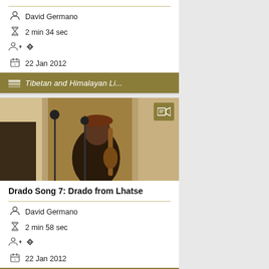David Germano
2 min 34 sec
22 Jan 2012
Tibetan and Himalayan Li...
[Figure (photo): Person playing a stringed instrument, with microphones in a room setting]
Drado Song 7: Drado from Lhatse
David Germano
2 min 58 sec
22 Jan 2012
Tibetan and Himalayan Li...
[Figure (photo): Partial view of another card image]